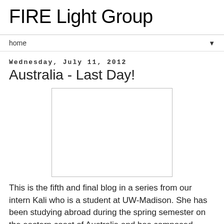FIRE Light Group
home ▼
Wednesday, July 11, 2012
Australia - Last Day!
[Figure (photo): A blank/white placeholder image box for a photo related to Australia last day post.]
This is the fifth and final blog in a series from our intern Kali who is a student at UW-Madison. She has been studying abroad during the spring semester on the eastern coast of Australia and has composed